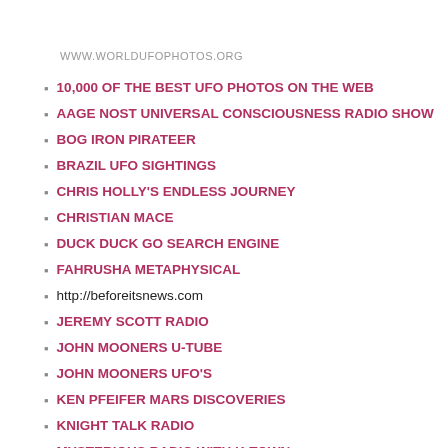WWW.WORLDUFOPHOTOS.ORG
10,000 OF THE BEST UFO PHOTOS ON THE WEB
AAGE NOST UNIVERSAL CONSCIOUSNESS RADIO SHOW
BOG IRON PIRATEER
BRAZIL UFO SIGHTINGS
CHRIS HOLLY'S ENDLESS JOURNEY
CHRISTIAN MACE
DUCK DUCK GO SEARCH ENGINE
FAHRUSHA METAPHYSICAL
http://beforeitsnews.com
JEREMY SCOTT RADIO
JOHN MOONERS U-TUBE
JOHN MOONERS UFO'S
KEN PFEIFER MARS DISCOVERIES
KNIGHT TALK RADIO
MYSTERIOUS RADIO WITH K-TOWN
NATIONAL INVESTIGATIONS COMMITEE ON AERIAL PHENOMENA